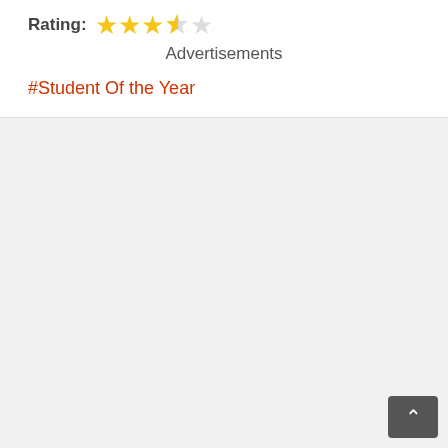Rating: ★★★½☆
Advertisements
#Student Of the Year